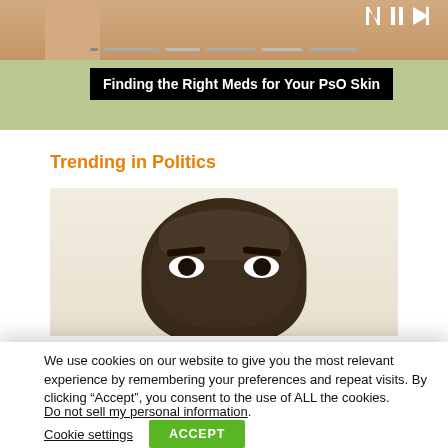[Figure (screenshot): Video player screenshot showing a hand and progress bar with playback controls]
Finding the Right Meds for Your PsO Skin
Trending in Politics
[Figure (photo): Close-up photo of a man's face looking upward, used as thumbnail for a politics article]
We use cookies on our website to give you the most relevant experience by remembering your preferences and repeat visits. By clicking “Accept”, you consent to the use of ALL the cookies.
Do not sell my personal information.
Cookie settings
ACCEPT